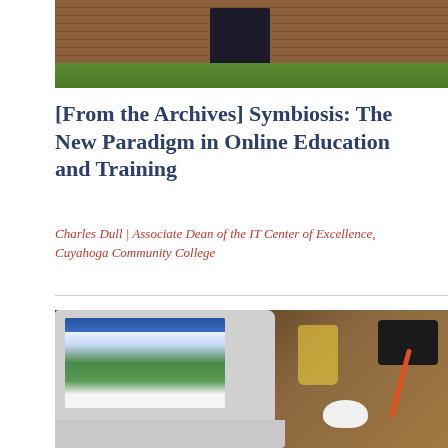[Figure (photo): Brick wall building exterior with dark doorway opening and green grass at the base]
[From the Archives] Symbiosis: The New Paradigm in Online Education and Training
Charles Dull | Associate Dean of the IT Center of Excellence, Cuyahoga Community College
[Figure (photo): Laptop showing Facebook on screen, with a yellow glass, camera, white mouse, and red pencil on a wooden desk]